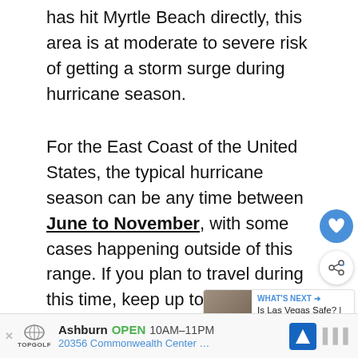has hit Myrtle Beach directly, this area is at moderate to severe risk of getting a storm surge during hurricane season.
For the East Coast of the United States, the typical hurricane season can be any time between June to November, with some cases happening outside of this range. If you plan to travel during this time, keep up to date with the weather and have an evacuation plan if necessary.
In Myrtle Beach, you'll most likely experience increased rain, thunderstorms, and wind, but it is
Ashburn OPEN 10AM–11PM 20356 Commonwealth Center …